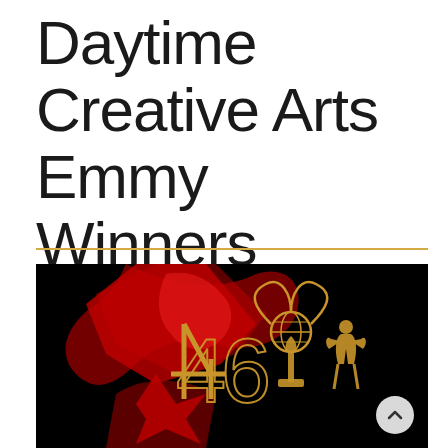Daytime Creative Arts Emmy Winners Announced
[Figure (photo): 46th Daytime Emmy Awards logo on black background — stylized '46' numerals in gold with red abstract swoosh decoration and the Emmy statuette (winged globe) in gold]